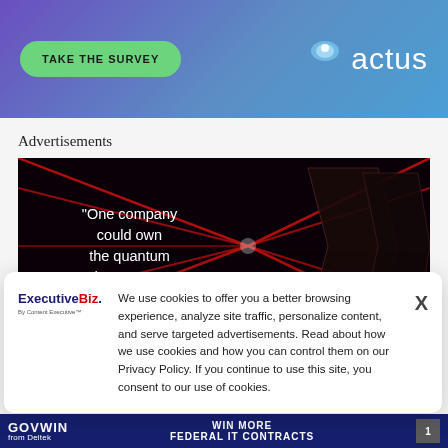[Figure (illustration): Top banner with purple-blue gradient background, green oval 'TAKE THE SURVEY' button on the left, and 'actus' logo with icon on the right]
Advertisements
[Figure (illustration): Dark advertisement image with red laser beams and reflective panels. Text reads: "One company could own the quantum product spectrum."]
[Figure (illustration): Cookie consent popup with ExecutiveBiz logo on the left and close X button on the right. Contains cookie policy text.]
We use cookies to offer you a better browsing experience, analyze site traffic, personalize content, and serve targeted advertisements. Read about how we use cookies and how you can control them on our Privacy Policy. If you continue to use this site, you consent to our use of cookies.
[Figure (illustration): Bottom dark blue banner with 'GOVWIN from Deltek' branding and 'WIN MORE FEDERAL IT CONTRACTS' text]